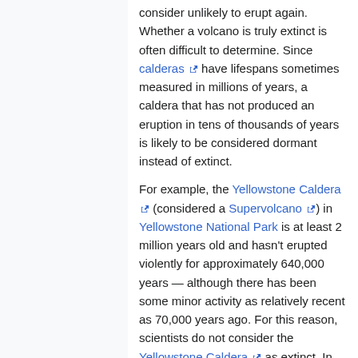consider unlikely to erupt again. Whether a volcano is truly extinct is often difficult to determine. Since calderas have lifespans sometimes measured in millions of years, a caldera that has not produced an eruption in tens of thousands of years is likely to be considered dormant instead of extinct.
For example, the Yellowstone Caldera (considered a Supervolcano) in Yellowstone National Park is at least 2 million years old and hasn't erupted violently for approximately 640,000 years — although there has been some minor activity as relatively recent as 70,000 years ago. For this reason, scientists do not consider the Yellowstone Caldera as extinct. In fact, because the caldera has frequent earthquakes, a very active geothermal system (i.e., the entirety of the geothermal activity found in Yellowstone National Park), and rapid rates of ground uplift, many scientists consider it to be a very active volcano.
Volcanoes on Earth
Main article: List of volcanoes